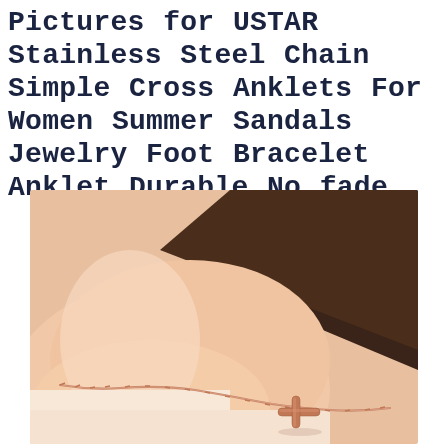Pictures for USTAR Stainless Steel Chain Simple Cross Anklets For Women Summer Sandals Jewelry Foot Bracelet Anklet Durable No fade
[Figure (photo): Close-up photo of a woman's ankle wearing a rose gold stainless steel chain anklet with a small sideways cross pendant, against a light skin-tone background with dark background on the upper right.]